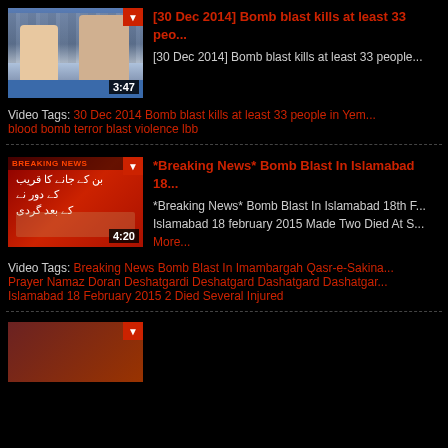[Figure (screenshot): Video thumbnail showing news studio with two people, duration 3:47]
[30 Dec 2014] Bomb blast kills at least 33 peo...
[30 Dec 2014] Bomb blast kills at least 33 people...
Video Tags: 30 Dec 2014 Bomb blast kills at least 33 people in Yem... blood bomb terror blast violence lbb
[Figure (screenshot): Video thumbnail showing Urdu text on red background, duration 4:20]
*Breaking News* Bomb Blast In Islamabad 18...
*Breaking News* Bomb Blast In Islamabad 18th F... Islamabad 18 february 2015 Made Two Died At S... More...
Video Tags: Breaking News Bomb Blast In Imambargah Qasr-e-Sakina... Prayer Namaz Doran Deshatgardi Deshatgard Dashatgard Dashatgar... Islamabad 18 February 2015 2 Died Several Injured
[Figure (screenshot): Partial video thumbnail at bottom of page]